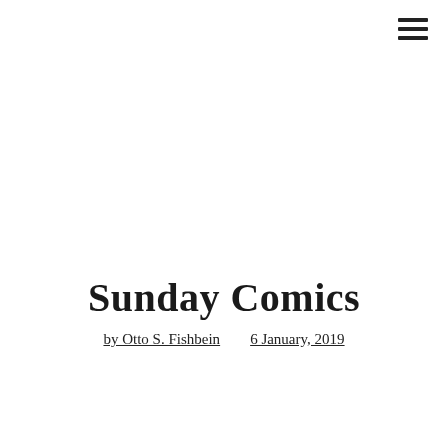[Figure (other): Hamburger menu icon (three horizontal lines) in top-right corner]
Sunday Comics
by Otto S. Fishbein    6 January, 2019